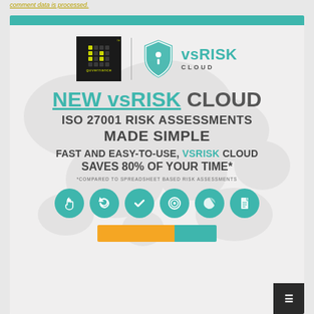comment data is processed.
[Figure (infographic): IT Governance and vsRISK Cloud advertisement. Shows IT Governance logo and vsRISK Cloud shield logo. Headline: NEW vsRISK CLOUD ISO 27001 RISK ASSESSMENTS MADE SIMPLE. FAST AND EASY-TO-USE, VSRISK CLOUD SAVES 80% OF YOUR TIME*. *COMPARED TO SPREADSHEET BASED RISK ASSESSMENTS. Six teal icon circles at bottom. Orange and teal CTA buttons at very bottom.]